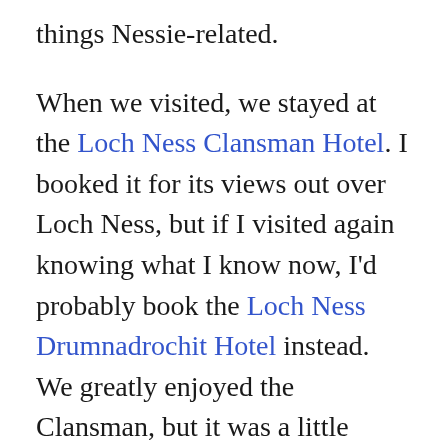things Nessie-related.
When we visited, we stayed at the Loch Ness Clansman Hotel. I booked it for its views out over Loch Ness, but if I visited again knowing what I know now, I'd probably book the Loch Ness Drumnadrochit Hotel instead. We greatly enjoyed the Clansman, but it was a little further out of the village. It would have been nice to stay in town so we could walk to dinner or breakfast and have easy options beyond just the hotel's food.